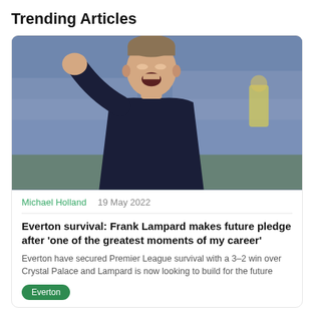Trending Articles
[Figure (photo): Frank Lampard celebrating with fist raised, wearing dark navy top, stadium crowd in background]
Michael Holland   19 May 2022
Everton survival: Frank Lampard makes future pledge after 'one of the greatest moments of my career'
Everton have secured Premier League survival with a 3–2 win over Crystal Palace and Lampard is now looking to build for the future
Everton